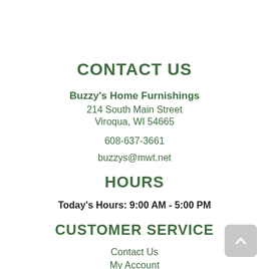CONTACT US
Buzzy's Home Furnishings
214 South Main Street
Viroqua, WI 54665
608-637-3661
buzzys@mwt.net
HOURS
Today's Hours: 9:00 AM - 5:00 PM
CUSTOMER SERVICE
Contact Us
My Account
Financing